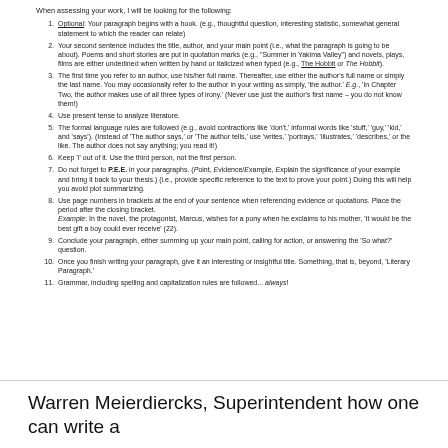When assessing your work, I will be looking for the following:
Optional: Your paragraph begins with a hook. (e.g., thoughtful question, interesting statistic, somewhat general statement to which the reader can relate)
Your second sentence includes the title, author, and your main point (i.e., what the paragraph is going to be about). Poems and short stories are put in quotation marks (e.g., "Summer in Yakima Valley") and novels, plays, films are either underlined when written by hand or italicized when typed (e.g., The Hobbit or The Hobbit).
The first time you refer to an author, use his/her full name. Thereafter, use either the author's full name or simply the last name. You may occasionally refer to the author in your writing as simply, 'the author.' E.g., 'In Chapter Two, the author makes use of all three types of irony.' (Never use just the author's first name – you do not know them!)
Use present tense to analyze literature.
The formal language rules are followed (e.g., avoid contractions like 'don't,' informal words like 'stuff,' 'guy,' 'kid,' and 'says'). (Instead of 'The author says,' or 'The author tells,' use 'writes,' 'portrays,' 'illustrates,' 'describes,' or the like. The author does not say anything; you read it!)
Keep 'I' out of it. Use the third person, not the first person.
Do not forget to P.E.E. in your paragraphs. (Point, Evidence/Example, Explain the significance of your example and bring it back to your thesis.) (i.e., provide specific reference to the text to prove your point.) Doing this will help you avoid plot summarizing.
Use page numbers in brackets at the end of your sentence when referencing evidence or quotations. Place the period after the closing bracket.
Example: In the novel, the protagonist, Marcus, wishes for a pony when he exclaims to his mother, 'It would be the best gift a boy could ever receive' (22).
Conclude your paragraph, either summing up your main point, calling for action, or answering the 'So what?' question.
Once you finish writing your paragraph, give it an interesting or insightful title. Something, that is, beyond, 'Literary Paragraph.'
Grammar, including spelling and capitalization rules are followed... always!
Warren Meierdiercks, Superintendent how one can write a